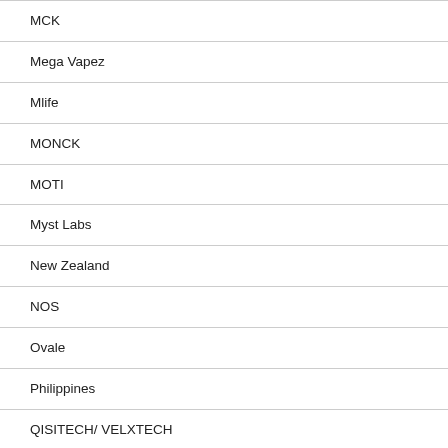MCK
Mega Vapez
Mlife
MONCK
MOTI
Myst Labs
New Zealand
NOS
Ovale
Philippines
QISITECH/ VELXTECH